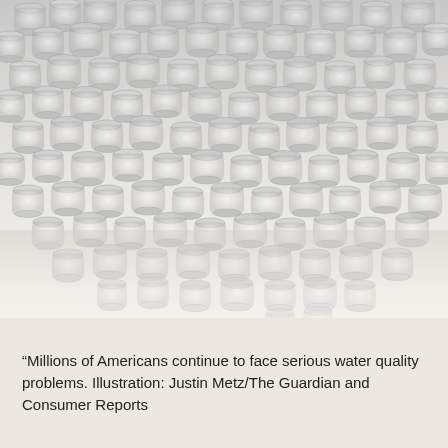[Figure (photo): A large group of clear glass drinking glasses filled with water, arranged in a dense cluster on a white surface, photographed from a slightly elevated angle. The glasses are transparent and reflect light, creating a silver-gray appearance. The cluster tapers toward the bottom-right of the image.]
“Millions of Americans continue to face serious water quality problems. Illustration: Justin Metz/The Guardian and Consumer Reports